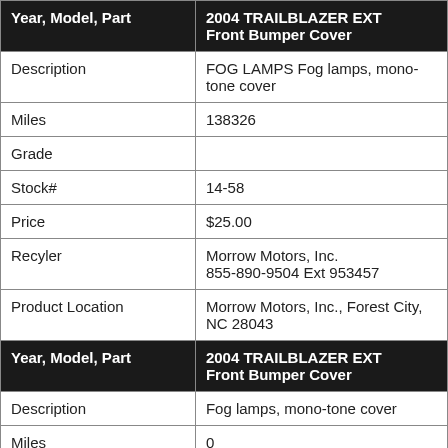| Year, Model, Part | 2004 TRAILBLAZER EXT Front Bumper Cover |
| --- | --- |
| Description | FOG LAMPS Fog lamps, mono-tone cover |
| Miles | 138326 |
| Grade |  |
| Stock# | 14-58 |
| Price | $25.00 |
| Recyler | Morrow Motors, Inc.
855-890-9504 Ext 953457 |
| Product Location | Morrow Motors, Inc., Forest City, NC 28043 |
| Year, Model, Part | 2004 TRAILBLAZER EXT Front Bumper Cover |
| Description | Fog lamps, mono-tone cover |
| Miles | 0 |